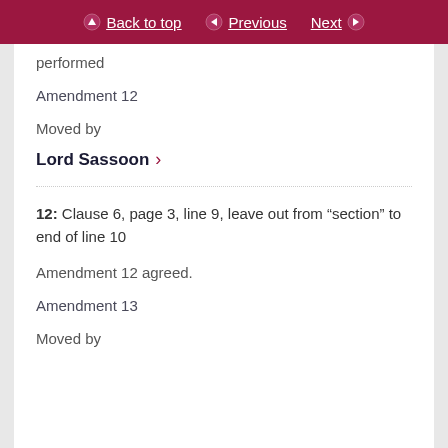Back to top | Previous | Next
performed
Amendment 12
Moved by
Lord Sassoon >
12: Clause 6, page 3, line 9, leave out from “section” to end of line 10
Amendment 12 agreed.
Amendment 13
Moved by